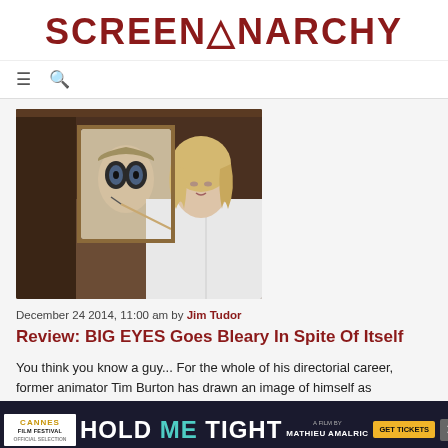SCREENANARCHY
[Figure (photo): Woman with blonde wavy hair in white blouse holding a paintbrush next to a painting of a child with large eyes. Movie still from Big Eyes.]
December 24 2014, 11:00 am by Jim Tudor
Review: BIG EYES Goes Bleary In Spite Of Itself
You think you know a guy... For the whole of his directorial career, former animator Tim Burton has drawn an image of himself as Hollywood's foremost misunderstood weirdo. In a supposedly creative time, he was...
[Figure (other): Advertisement banner: Hold Me Tight - A Film by Mathieu Amalric - Cannes Film Festival Official Selection - GET TICKETS]